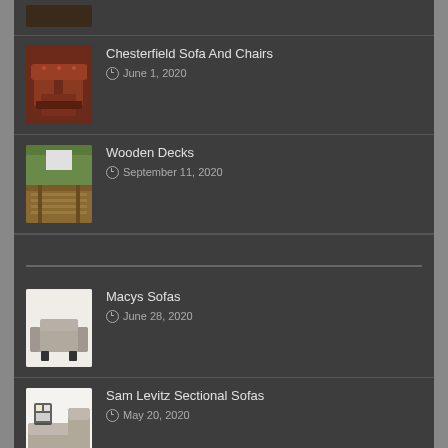(partial item — dark furniture thumbnail, top cropped)
Chesterfield Sofa And Chairs
June 1, 2020
Wooden Decks
September 11, 2020
Macys Sofas
June 28, 2020
Sam Levitz Sectional Sofas
May 20, 2020
Fabric Roman Shades
November 5, 2020
(partial item at bottom)